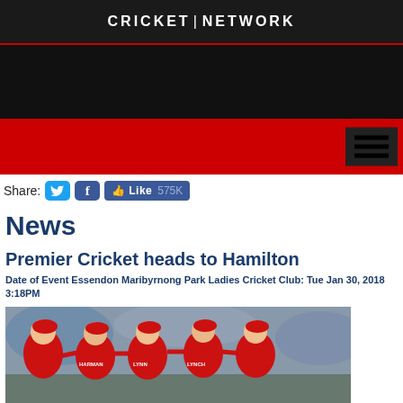CRICKET | NETWORK
[Figure (screenshot): Black banner advertisement area]
[Figure (screenshot): Red navigation bar with hamburger menu icon on the right]
Share:
News
Premier Cricket heads to Hamilton
Date of Event Essendon Maribyrnong Park Ladies Cricket Club: Tue Jan 30, 2018 3:18PM
[Figure (photo): Group of women cricketers in red and black uniforms celebrating, several wearing caps with names HARMAN, LYNN, LYNCH visible on jerseys]